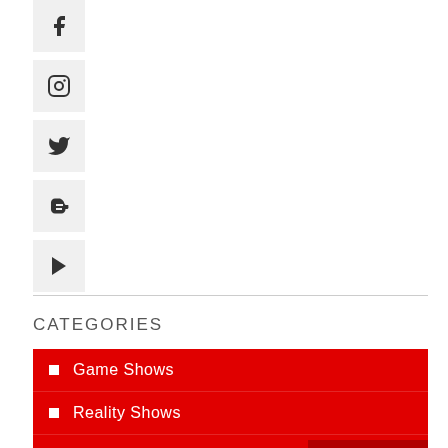[Figure (other): Social media icon: Instagram (partial Facebook icon cut off at top)]
[Figure (other): Social media icon: Instagram]
[Figure (other): Social media icon: Twitter]
[Figure (other): Social media icon: Blogger]
[Figure (other): Social media icon: Play (video)]
CATEGORIES
Game Shows
Reality Shows
Movies